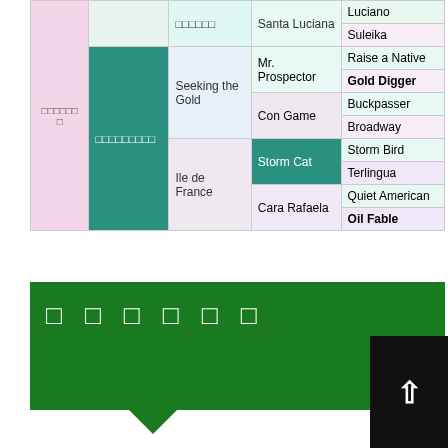|  |  |  |  |  |
| --- | --- | --- | --- | --- |
| □□□□□□□ | □□□□□□□□□□ | □□□□□□ | Santa Luciana | Luciano |
|  |  |  | Santa Luciana | Suleika |
|  | □□□□□□□□□ | Seeking the Gold | Mr. Prospector | Raise a Native |
|  |  |  | Mr. Prospector | Gold Digger |
|  |  |  | Con Game | Buckpasser |
|  |  |  | Con Game | Broadway |
|  |  | Ile de France | Storm Cat | Storm Bird |
|  |  |  | Storm Cat | Terlingua |
|  |  |  | Cara Rafaela | Quiet American |
|  |  |  | Cara Rafaela | Oil Fable |
□ □ □ □ □ □